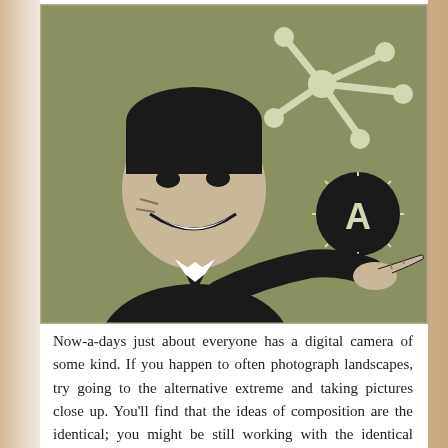[Figure (illustration): Retro-style pop-art illustration of a smiling man in a suit pointing with one finger, on an olive/khaki green background. In the upper right there is a white molecular/atom-like symbol (a central circle with rods extending to smaller circles). Below the molecular symbol is a black circle containing a white letter 'A' with an asterisk or star shape. The overall style is a high-contrast black and olive green vintage illustration.]
Now-a-days just about everyone has a digital camera of some kind. If you happen to often photograph landscapes, try going to the alternative extreme and taking pictures close up. You'll find that the ideas of composition are the identical; you might be still working with the identical constructing blocks of colour, texture, line and shape, solely on a much smaller scale.